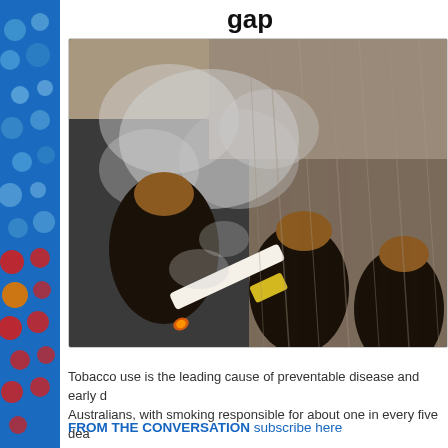gap
[Figure (photo): Close-up photograph of dark-skinned hands holding a lit cigarette with smoke rising, with grey dreadlocked hair visible in the background.]
Tobacco use is the leading cause of preventable disease and early d... Australians, with smoking responsible for about one in every five dea...
FROM THE CONVERSATION subscribe here